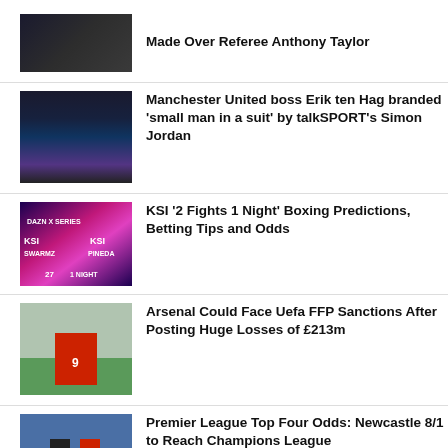Made Over Referee Anthony Taylor
Manchester United boss Erik ten Hag branded 'small man in a suit' by talkSPORT's Simon Jordan
KSI '2 Fights 1 Night' Boxing Predictions, Betting Tips and Odds
Arsenal Could Face Uefa FFP Sanctions After Posting Huge Losses of £213m
Premier League Top Four Odds: Newcastle 8/1 to Reach Champions League